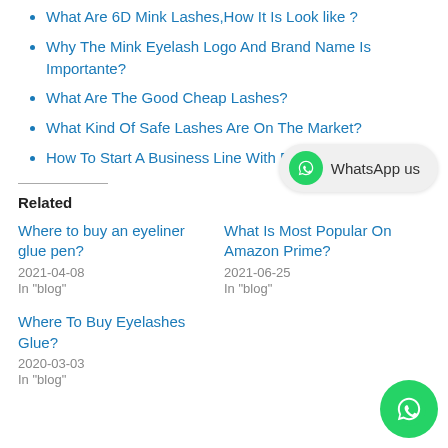What Are 6D Mink Lashes,How It Is Look like ?
Why The Mink Eyelash Logo And Brand Name Is Importante?
What Are The Good Cheap Lashes?
What Kind Of Safe Lashes Are On The Market?
How To Start A Business Line With Fre...g ?
Related
Where to buy an eyeliner glue pen?
2021-04-08
In "blog"
What Is Most Popular On Amazon Prime?
2021-06-25
In "blog"
Where To Buy Eyelashes Glue?
2020-03-03
In "blog"
[Figure (other): WhatsApp chat button overlay showing WhatsApp icon and 'WhatsApp us' text]